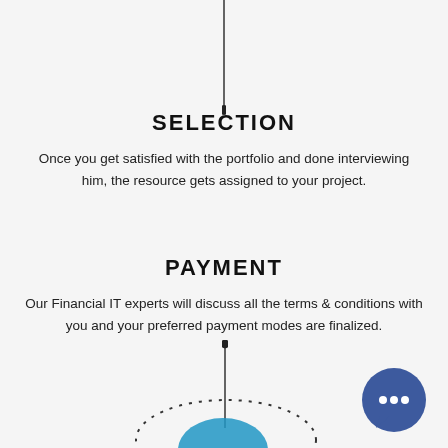[Figure (infographic): Vertical line with dot at bottom, part of a process flow diagram connecting steps]
SELECTION
Once you get satisfied with the portfolio and done interviewing him, the resource gets assigned to your project.
PAYMENT
Our Financial IT experts will discuss all the terms & conditions with you and your preferred payment modes are finalized.
[Figure (infographic): Vertical line with dot at top, dotted arc, blue semicircle at bottom, and blue chat bubble icon - part of process flow diagram]